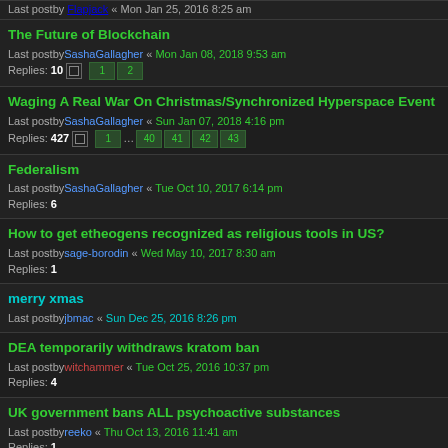Last postby Flapjack « Mon Jan 25, 2016 8:25 am
The Future of Blockchain
Last postby SashaGallagher « Mon Jan 08, 2018 9:53 am
Replies: 10 [pages: 1 2]
Waging A Real War On Christmas/Synchronized Hyperspace Event
Last postby SashaGallagher « Sun Jan 07, 2018 4:16 pm
Replies: 427 [pages: 1 ... 40 41 42 43]
Federalism
Last postby SashaGallagher « Tue Oct 10, 2017 6:14 pm
Replies: 6
How to get etheogens recognized as religious tools in US?
Last postby sage-borodin « Wed May 10, 2017 8:30 am
Replies: 1
merry xmas
Last postby jbmac « Sun Dec 25, 2016 8:26 pm
DEA temporarily withdraws kratom ban
Last postby witchammer « Tue Oct 25, 2016 10:37 pm
Replies: 4
UK government bans ALL psychoactive substances
Last postby reeko « Thu Oct 13, 2016 11:41 am
Replies: 1
Gay Marriage
Last postby Flapjack « Mon May 25, 2015 7:20 am
Replies: 7
Keeping Kratom Legal in Michigan 2014~!